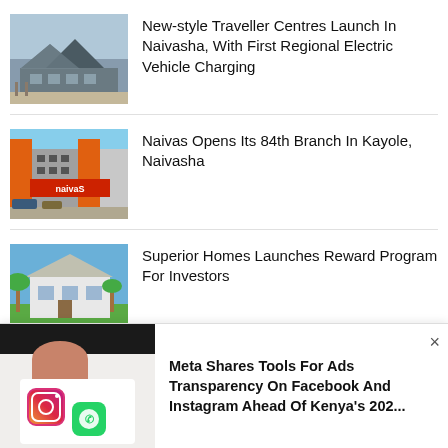[Figure (photo): Exterior of a modern traveller centre building with angular roof and blue sky]
New-style Traveller Centres Launch In Naivasha, With First Regional Electric Vehicle Charging
[Figure (photo): Naivas supermarket storefront with orange branding]
Naivas Opens Its 84th Branch In Kayole, Naivasha
[Figure (photo): Modern residential home with blue sky and palm trees]
Superior Homes Launches Reward Program For Investors
[Figure (photo): Hand holding smartphone with social media app icons visible]
Meta Shares Tools For Ads Transparency On Facebook And Instagram Ahead Of Kenya's 202...